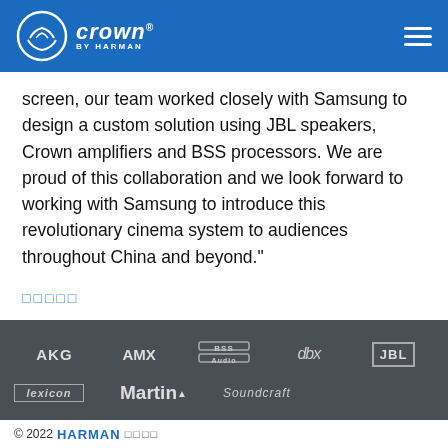Crown by HARMAN
screen, our team worked closely with Samsung to design a custom solution using JBL speakers, Crown amplifiers and BSS processors. We are proud of this collaboration and we look forward to working with Samsung to introduce this revolutionary cinema system to audiences throughout China and beyond."
□□□□□
[Figure (logo): Footer with brand logos: AKG, AMX, BSS, dbx, JBL, lexicon, Martin, Soundcraft on dark grey background]
© 2022 HARMAN □□□□